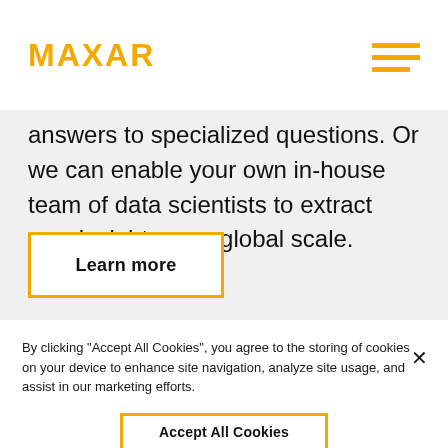MAXAR
answers to specialized questions. Or we can enable your own in-house team of data scientists to extract new insights on a global scale.
Learn more
By clicking “Accept All Cookies”, you agree to the storing of cookies on your device to enhance site navigation, analyze site usage, and assist in our marketing efforts.
Accept All Cookies